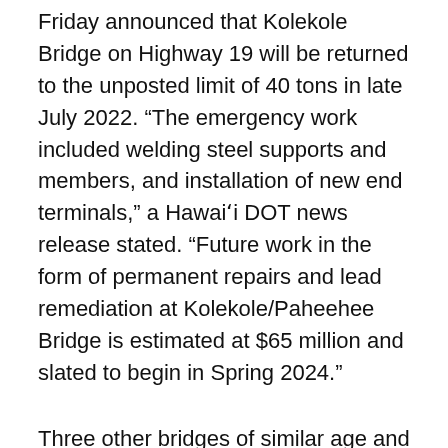Friday announced that Kolekole Bridge on Highway 19 will be returned to the unposted limit of 40 tons in late July 2022. “The emergency work included welding steel supports and members, and installation of new end terminals,” a Hawaiʻi DOT news release stated. “Future work in the form of permanent repairs and lead remediation at Kolekole/Paheehee Bridge is estimated at $65 million and slated to begin in Spring 2024.”
Three other bridges of similar age and construction to Kolekole Bridge are also being monitored by HDOT through the state bridge inspection program. Wailuku, Nanue, and